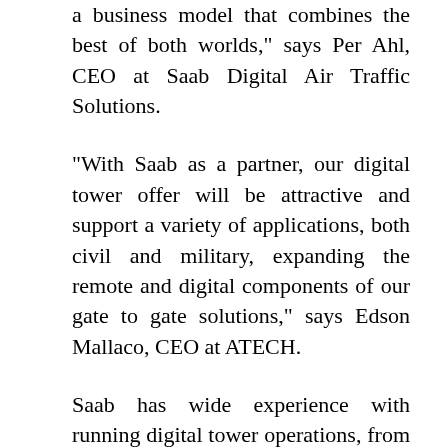a business model that combines the best of both worlds," says Per Ahl, CEO at Saab Digital Air Traffic Solutions.
"With Saab as a partner, our digital tower offer will be attractive and support a variety of applications, both civil and military, expanding the remote and digital components of our gate to gate solutions," says Edson Mallaco, CEO at ATECH.
Saab has wide experience with running digital tower operations, from initial operational, technical and business case analysis and implementation, to training and organisation change management. The first remotely controlled airport in the world was developed and brought into operation by Saab and the Swedish Airports and Air Navigation Services, on April 21, 2015.
Atech's innovative concentration of digital solutions, like the remote AFIS for DECEA operations in Brazil,